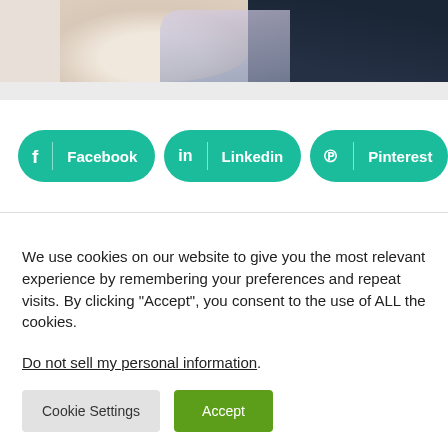[Figure (photo): Partial view of two people shaking hands, one in a white shirt, one in a dark suit]
[Figure (infographic): Social sharing buttons: Facebook (teal/green pill), Linkedin (teal/green pill), Pinterest (teal/green pill), and a black circular plus button]
We use cookies on our website to give you the most relevant experience by remembering your preferences and repeat visits. By clicking “Accept”, you consent to the use of ALL the cookies.
Do not sell my personal information.
Cookie Settings
Accept